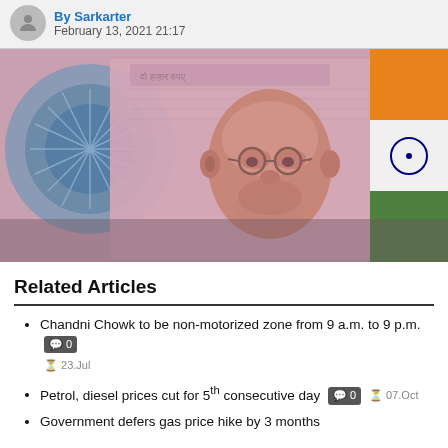By Sarkanter
February 13, 2021 21:17
[Figure (photo): Close-up photograph of a rolled Indian Rupee currency note showing Mahatma Gandhi's portrait, with the Indian flag visible in the background.]
Related Articles
Chandni Chowk to be non-motorized zone from 9 a.m. to 9 p.m.  0  23.Jul
Petrol, diesel prices cut for 5th consecutive day  0  07.Oct
Government defers gas price hike by 3 months